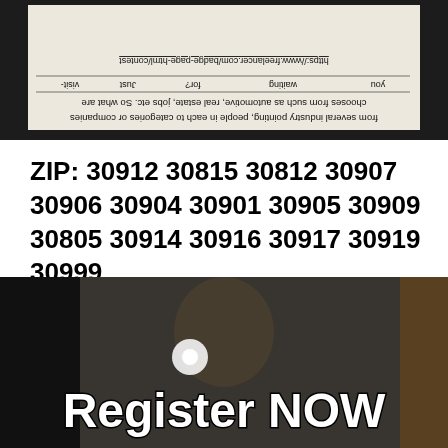[Figure (screenshot): A screenshot of a webpage shown upside down and mirrored on a dark background. The content includes text about choosing from categories such as automotive, real estate, jobs etc., a table row with columns 'you', 'waiting', 'for?', 'Just', 'visit-', and a URL link https://www.freelancer.com/badge-page-html/contest]
ZIP: 30912 30815 30812 30907 30906 30904 30901 30905 30909 30805 30914 30916 30917 30919 30999
[Figure (screenshot): A dark screenshot of a video or webpage showing a person's face partially visible, with a bright light flare, and a large 'Register NOW' text overlaid in bold white letters with black outline at the bottom.]